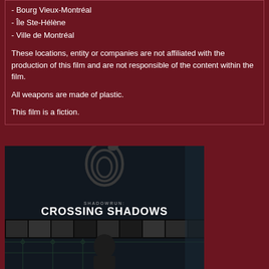- Bourg Vieux-Montréal
- Île Ste-Hélène
- Ville de Montréal
These locations, entity or companies are not affiliated with the production of this film and are not responsible of the content within the film.
All weapons are made of plastic.
This film is a fiction.
[Figure (photo): Movie poster for 'Shadowrun: Crossing Shadows' showing a stylized serpent/dragon logo at the top, the title text 'SHADOWRUN: CROSSING SHADOWS', a strip of character portrait photos across the middle, and a figure below on a circuit-board style background.]